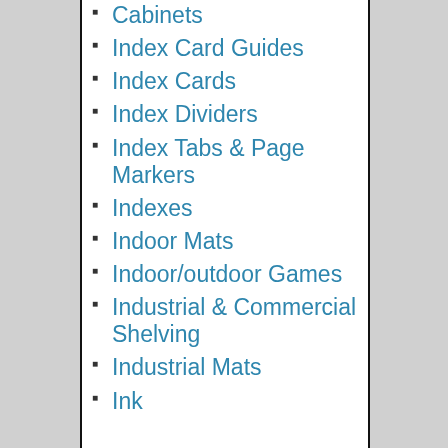Cabinets
Index Card Guides
Index Cards
Index Dividers
Index Tabs & Page Markers
Indexes
Indoor Mats
Indoor/outdoor Games
Industrial & Commercial Shelving
Industrial Mats
Ink